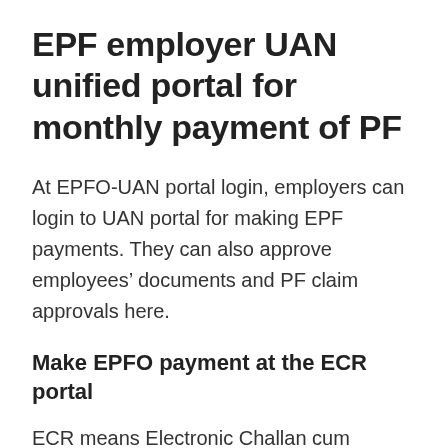EPF employer UAN unified portal for monthly payment of PF
At EPFO-UAN portal login, employers can login to UAN portal for making EPF payments. They can also approve employees’ documents and PF claim approvals here.
Make EPFO payment at the ECR portal
ECR means Electronic Challan cum Return. You can go to EPFO ECR online payment portal. Here fill required details. In